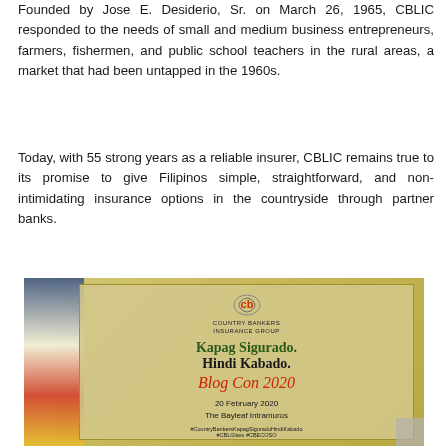Founded by Jose E. Desiderio, Sr. on March 26, 1965, CBLIC responded to the needs of small and medium business entrepreneurs, farmers, fishermen, and public school teachers in the rural areas, a market that had been untapped in the 1960s.
Today, with 55 strong years as a reliable insurer, CBLIC remains true to its promise to give Filipinos simple, straightforward, and non-intimidating insurance options in the countryside through partner banks.
[Figure (photo): Photo of a banner/sign for Country Bankers Insurance Group at an event. The sign reads: 'Kapag Sigurado. Hindi Kabado.' with cursive text below, and event details: '20 February 2020, The Bayleaf Intramuros'. A Philippine flag is visible on the left side of the banner.]